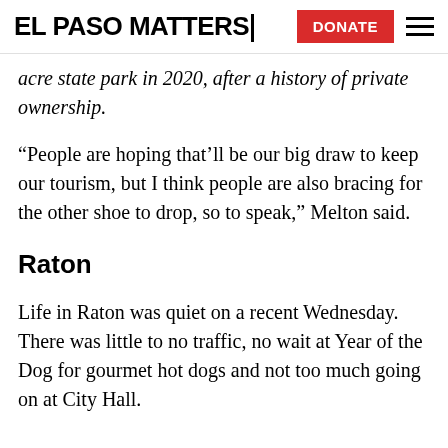EL PASO MATTERS | DONATE
acre state park in 2020, after a history of private ownership.
“People are hoping that’ll be our big draw to keep our tourism, but I think people are also bracing for the other shoe to drop, so to speak,” Melton said.
Raton
Life in Raton was quiet on a recent Wednesday. There was little to no traffic, no wait at Year of the Dog for gourmet hot dogs and not too much going on at City Hall.